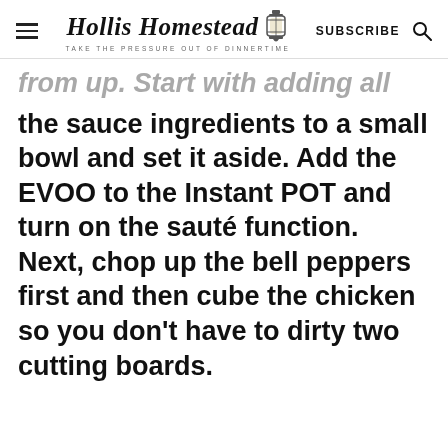Hollis Homestead — TAKE THE PRESSURE OUT OF DINNERTIME — SUBSCRIBE
the sauce ingredients to a small bowl and set it aside. Add the EVOO to the Instant POT and turn on the sauté function. Next, chop up the bell peppers first and then cube the chicken so you don't have to dirty two cutting boards.